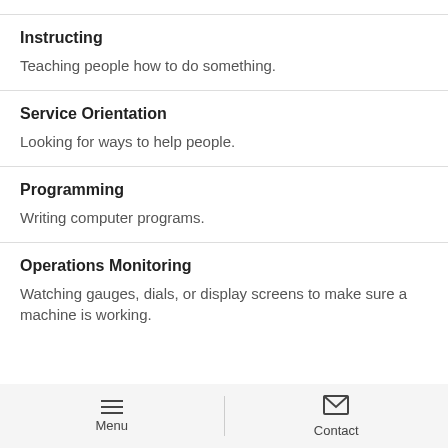Instructing
Teaching people how to do something.
Service Orientation
Looking for ways to help people.
Programming
Writing computer programs.
Operations Monitoring
Watching gauges, dials, or display screens to make sure a machine is working.
Menu   Contact